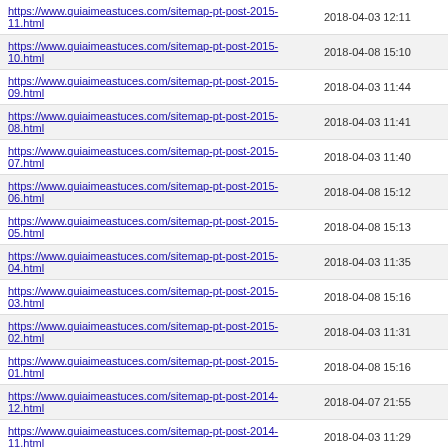| URL | Date |
| --- | --- |
| https://www.quiaimeastuces.com/sitemap-pt-post-2015-11.html | 2018-04-03 12:11 |
| https://www.quiaimeastuces.com/sitemap-pt-post-2015-10.html | 2018-04-08 15:10 |
| https://www.quiaimeastuces.com/sitemap-pt-post-2015-09.html | 2018-04-03 11:44 |
| https://www.quiaimeastuces.com/sitemap-pt-post-2015-08.html | 2018-04-03 11:41 |
| https://www.quiaimeastuces.com/sitemap-pt-post-2015-07.html | 2018-04-03 11:40 |
| https://www.quiaimeastuces.com/sitemap-pt-post-2015-06.html | 2018-04-08 15:12 |
| https://www.quiaimeastuces.com/sitemap-pt-post-2015-05.html | 2018-04-08 15:13 |
| https://www.quiaimeastuces.com/sitemap-pt-post-2015-04.html | 2018-04-03 11:35 |
| https://www.quiaimeastuces.com/sitemap-pt-post-2015-03.html | 2018-04-08 15:16 |
| https://www.quiaimeastuces.com/sitemap-pt-post-2015-02.html | 2018-04-03 11:31 |
| https://www.quiaimeastuces.com/sitemap-pt-post-2015-01.html | 2018-04-08 15:16 |
| https://www.quiaimeastuces.com/sitemap-pt-post-2014-12.html | 2018-04-07 21:55 |
| https://www.quiaimeastuces.com/sitemap-pt-post-2014-11.html | 2018-04-03 11:29 |
| https://www.quiaimeastuces.com/sitemap-pt-post-2014-10.html | 2018-04-03 09:18 |
| https://www.quiaimeastuces.com/sitemap-pt-post-2014-09.html | 2018-04-08 15:29 |
| https://www.quiaimeastuces.com/sitemap-pt-post-2014-07.html | 2018-04-08 15:45 |
| https://www.quiaimeastuces.com/sitemap-pt-post-2014-06.html | 2018-04-03 11:26 |
| https://www.quiaimeastuces.com/sitemap-pt-post-2014-04.html | 2018-04-03 11:25 |
| https://www.quiaimeastuces.com/sitemap-pt-post-2014-03.html | 2018-04-03 11:22 |